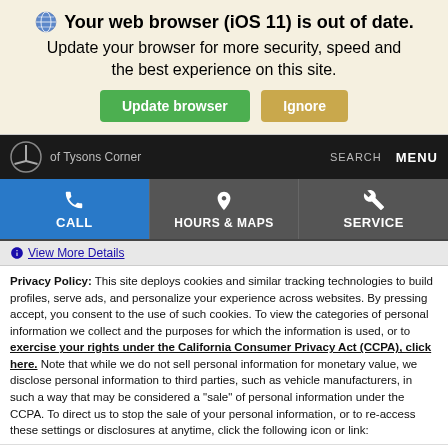[Figure (screenshot): Browser update warning banner with globe icon, 'Your web browser (iOS 11) is out of date.' headline, subtext, and two buttons: 'Update browser' (green) and 'Ignore' (tan).]
[Figure (screenshot): Mercedes-Benz of Tysons Corner navigation bar with logo, dealer name, SEARCH and MENU links.]
[Figure (screenshot): Action strip with three buttons: CALL (blue), HOURS & MAPS (gray), SERVICE (gray) with respective icons.]
View More Details
Privacy Policy: This site deploys cookies and similar tracking technologies to build profiles, serve ads, and personalize your experience across websites. By pressing accept, you consent to the use of such cookies. To view the categories of personal information we collect and the purposes for which the information is used, or to exercise your rights under the California Consumer Privacy Act (CCPA), click here. Note that while we do not sell personal information for monetary value, we disclose personal information to third parties, such as vehicle manufacturers, in such a way that may be considered a "sale" of personal information under the CCPA. To direct us to stop the sale of your personal information, or to re-access these settings or disclosures at anytime, click the following icon or link:
Do Not Sell My Personal Information
Language: English
Powered by ComplyAuto
Accept and Continue →
California Privacy Disclosures